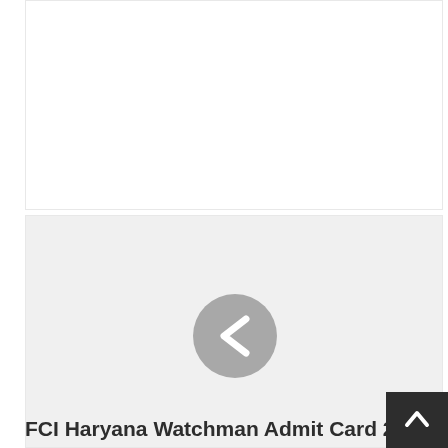[Figure (screenshot): Top white panel area - advertisement or image placeholder]
[Figure (screenshot): Bottom light gray panel with a circular back/previous navigation button (left chevron arrow) centered in the middle]
FCI Haryana Watchman Admit Card 20...